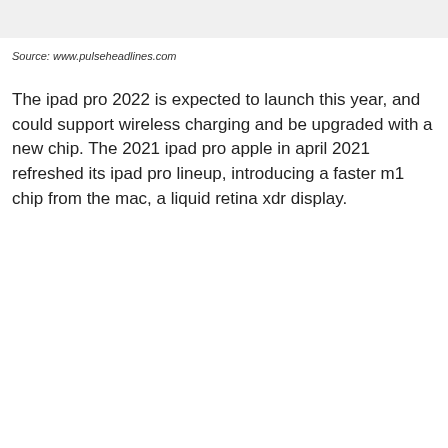[Figure (photo): Image placeholder at top of page]
Source: www.pulseheadlines.com
The ipad pro 2022 is expected to launch this year, and could support wireless charging and be upgraded with a new chip. The 2021 ipad pro apple in april 2021 refreshed its ipad pro lineup, introducing a faster m1 chip from the mac, a liquid retina xdr display.